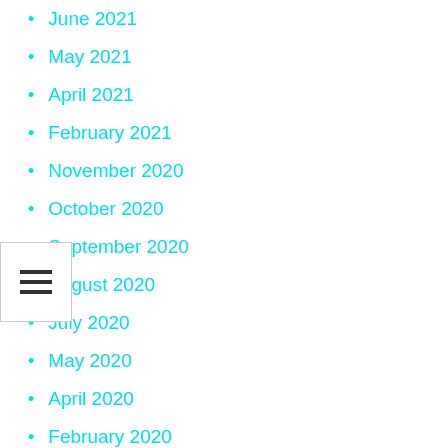June 2021
May 2021
April 2021
February 2021
November 2020
October 2020
September 2020
August 2020
July 2020
May 2020
April 2020
February 2020
January 2020
December 2019
March 2019
January 2019
August 2018
January 2018
May 2016